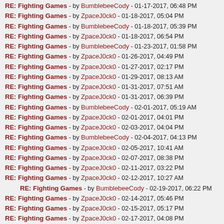RE: Fighting Games - by BumblebeeCody - 01-17-2017, 06:48 PM
RE: Fighting Games - by ZpaceJ0ck0 - 01-18-2017, 05:04 PM
RE: Fighting Games - by BumblebeeCody - 01-18-2017, 05:39 PM
RE: Fighting Games - by ZpaceJ0ck0 - 01-18-2017, 06:54 PM
RE: Fighting Games - by BumblebeeCody - 01-23-2017, 01:58 PM
RE: Fighting Games - by ZpaceJ0ck0 - 01-26-2017, 04:49 PM
RE: Fighting Games - by ZpaceJ0ck0 - 01-27-2017, 02:17 PM
RE: Fighting Games - by ZpaceJ0ck0 - 01-29-2017, 08:13 AM
RE: Fighting Games - by ZpaceJ0ck0 - 01-31-2017, 07:51 AM
RE: Fighting Games - by ZpaceJ0ck0 - 01-31-2017, 06:39 PM
RE: Fighting Games - by BumblebeeCody - 02-01-2017, 05:19 AM
RE: Fighting Games - by ZpaceJ0ck0 - 02-01-2017, 04:01 PM
RE: Fighting Games - by ZpaceJ0ck0 - 02-03-2017, 04:04 PM
RE: Fighting Games - by BumblebeeCody - 02-04-2017, 04:13 PM
RE: Fighting Games - by ZpaceJ0ck0 - 02-05-2017, 10:41 AM
RE: Fighting Games - by ZpaceJ0ck0 - 02-07-2017, 08:38 PM
RE: Fighting Games - by ZpaceJ0ck0 - 02-11-2017, 03:22 PM
RE: Fighting Games - by ZpaceJ0ck0 - 02-12-2017, 10:27 AM
RE: Fighting Games - by BumblebeeCody - 02-19-2017, 06:22 PM
RE: Fighting Games - by ZpaceJ0ck0 - 02-14-2017, 05:46 PM
RE: Fighting Games - by ZpaceJ0ck0 - 02-15-2017, 05:17 PM
RE: Fighting Games - by ZpaceJ0ck0 - 02-17-2017, 04:08 PM
RE: Fighting Games - by ZpaceJ0ck0 - 02-17-2017, 06:18 PM
RE: Fighting Games - by ZpaceJ0ck0 - 02-18-2017, 09:01 AM
RE: Fighting Games - by ZpaceJ0ck0 - 02-20-2017, 09:30 PM